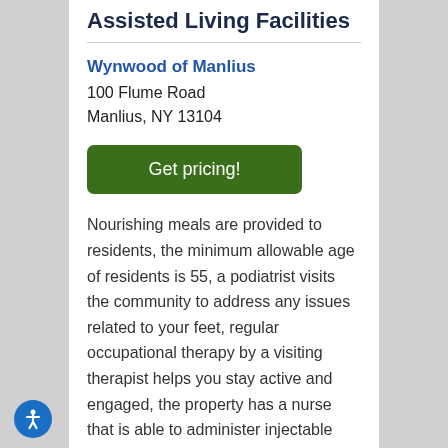Assisted Living Facilities
Wynwood of Manlius
100 Flume Road
Manlius, NY 13104
Get pricing!
Nourishing meals are provided to residents, the minimum allowable age of residents is 55, a podiatrist visits the community to address any issues related to your feet, regular occupational therapy by a visiting therapist helps you stay active and engaged, the property has a nurse that is able to administer injectable medicine, this community provides complimentary transportation, and